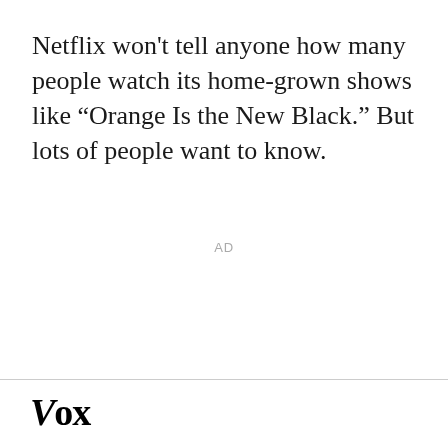Netflix won't tell anyone how many people watch its home-grown shows like “Orange Is the New Black.” But lots of people want to know.
AD
Vox